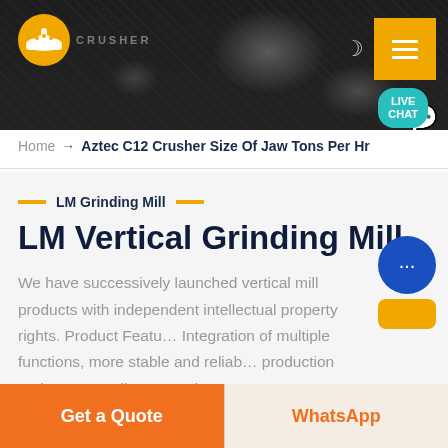[Figure (screenshot): Website header banner with dark rocky/industrial background, logo on left (orange hard-hat icon), navigation icons top right (moon icon and yellow hamburger menu button), and a teal Live Chat bubble in bottom-right of banner area]
Home → Aztec C12 Crusher Size Of Jaw Tons Per Hr
LM Grinding Mill
LM Vertical Grinding Mill
We have successively launched vertical mill products with independent intellectual property rights. Product Featu… Integration of multiple functions, more stable and reliab… production and more excellent capacity